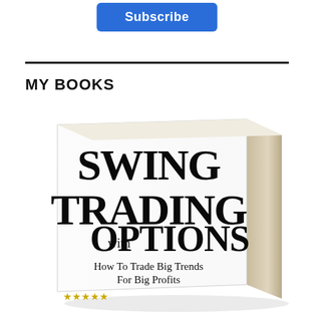[Figure (illustration): Blue Subscribe button at the top of the page]
MY BOOKS
[Figure (photo): 3D book cover image titled 'Swing Trading with Options: How To Trade Big Trends for Big Profits']